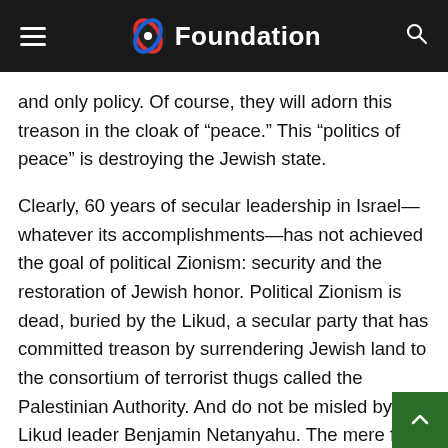Foundation
and only policy. Of course, they will adorn this treason in the cloak of “peace.” This “politics of peace” is destroying the Jewish state.
Clearly, 60 years of secular leadership in Israel—whatever its accomplishments—has not achieved the goal of political Zionism: security and the restoration of Jewish honor. Political Zionism is dead, buried by the Likud, a secular party that has committed treason by surrendering Jewish land to the consortium of terrorist thugs called the Palestinian Authority. And do not be misled by Likud leader Benjamin Netanyahu. The mere fact that he is willing to negotiate with these thugs on the basis of “reciprocity” means he is willing to surrender more Jewish land to these implacable enemies of the